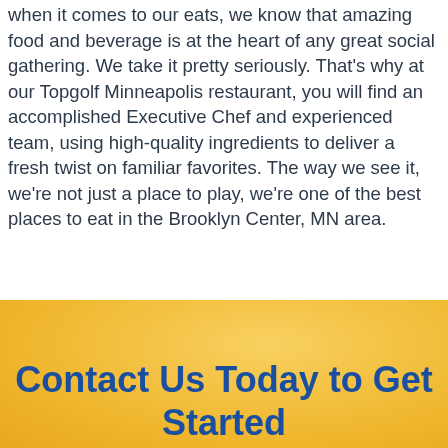When it comes to our eats, we know that amazing food and beverage is at the heart of any great social gathering. We take it pretty seriously. That's why at our Topgolf Minneapolis restaurant, you will find an accomplished Executive Chef and experienced team, using high-quality ingredients to deliver a fresh twist on familiar favorites. The way we see it, we're not just a place to play, we're one of the best places to eat in the Brooklyn Center, MN area.
Contact Us Today to Get Started